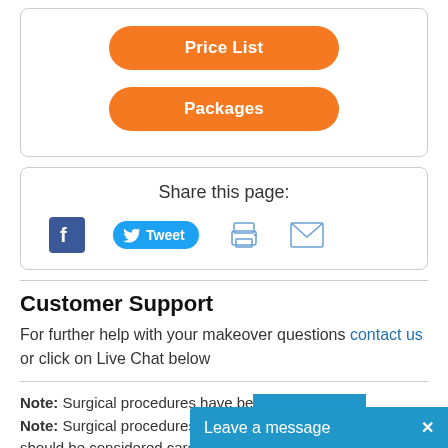[Figure (screenshot): Two orange rounded buttons labeled 'Price List' and 'Packages' inside a rounded border box]
Share this page:
[Figure (infographic): Social share icons: Facebook, Tweet button, Print icon, Email icon]
Customer Support
For further help with your makeover questions contact us or click on Live Chat below
Note: Surgical procedures have benefits and risks and should be considered carefully. You
[Figure (screenshot): Live chat bar at bottom right reading 'Leave a message' with an X close button]